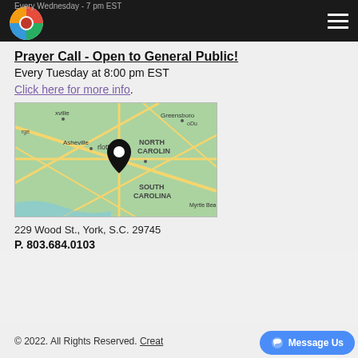Every Wednesday - 7 pm EST
Prayer Call - Open to General Public!
Every Tuesday at 8:00 pm EST
Click here for more info.
[Figure (map): Google Maps view showing Charlotte, NC area with location pin, showing parts of North Carolina, South Carolina, Greensboro, Asheville, and Myrtle Beach]
229 Wood St., York, S.C. 29745
P. 803.684.0103
© 2022. All Rights Reserved. Creat...